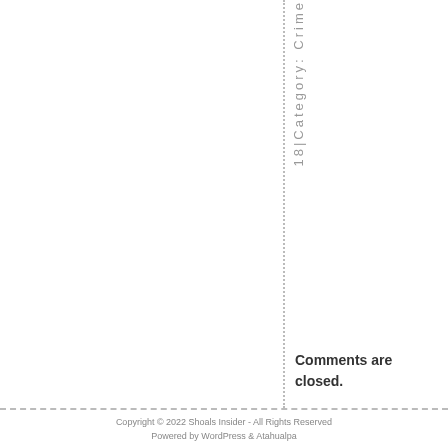1 8 | C a t e g o r y : C r i m e
Comments are closed.
Copyright © 2022 Shoals Insider - All Rights Reserved
Powered by WordPress & Atahualpa